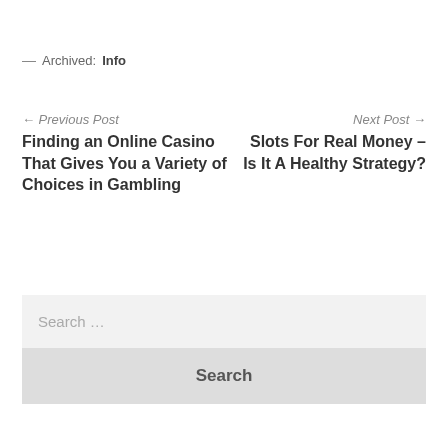— Archived: Info
← Previous Post
Next Post →
Finding an Online Casino That Gives You a Variety of Choices in Gambling
Slots For Real Money – Is It A Healthy Strategy?
Search …
Search